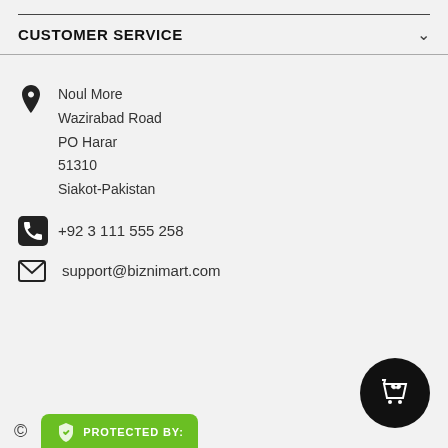CUSTOMER SERVICE
Noul More
Wazirabad Road
PO Harar
51310
Siakot-Pakistan
+92 3 111 555 258
support@biznimart.com
[Figure (logo): Green 'PROTECTED BY' badge with shield/lock icon at bottom of page]
[Figure (other): Black circular shopping cart with heart icon button in bottom right]